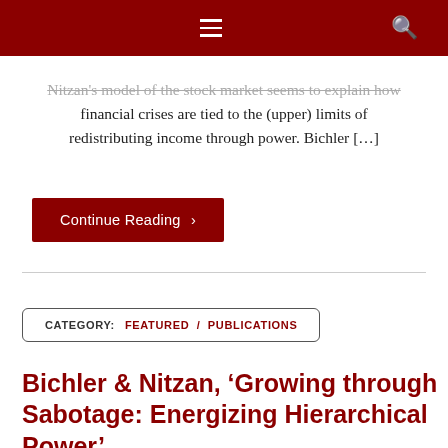navigation bar with hamburger menu and search icon
Nitzan's model of the stock market seems to explain how financial crises are tied to the (upper) limits of redistributing income through power. Bichler […]
Continue Reading >
CATEGORY: FEATURED / PUBLICATIONS
Bichler & Nitzan, 'Growing through Sabotage: Energizing Hierarchical Power'